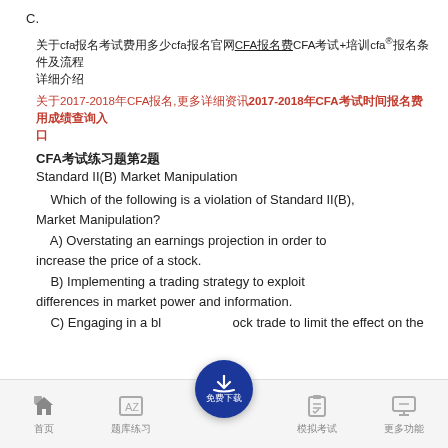C. （选项C的内容，文字遮挡）
关于cfa报名考试费用多少cfa报名官网CFA报名费CFA考试+培训cfa®报名条件及流程详细介绍
关于2017-2018年CFA报名,更多详细资讯2017-2018年CFA考试时间报名费用成绩查询入口
CFA考试练习题第2题
Standard II(B) Market Manipulation
Which of the following is a violation of Standard II(B), Market Manipulation?
A) Overstating an earnings projection in order to increase the price of a stock.
B) Implementing a trading strategy to exploit differences in market power and information.
C) Engaging in a block trade to limit the effect on the price of this transaction.